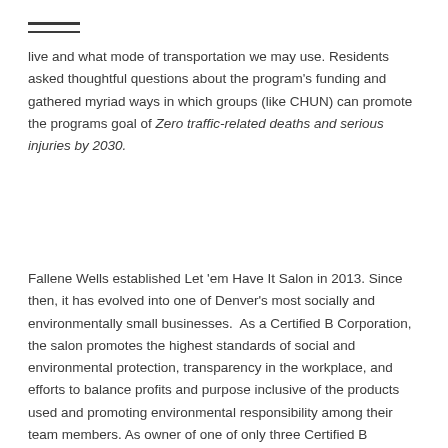——
live and what mode of transportation we may use. Residents asked thoughtful questions about the program's funding and gathered myriad ways in which groups (like CHUN) can promote the programs goal of Zero traffic-related deaths and serious injuries by 2030.
Fallene Wells established Let 'em Have It Salon in 2013. Since then, it has evolved into one of Denver's most socially and environmentally small businesses.  As a Certified B Corporation, the salon promotes the highest standards of social and environmental protection, transparency in the workplace, and efforts to balance profits and purpose inclusive of the products used and promoting environmental responsibility among their team members. As owner of one of only three Certified B